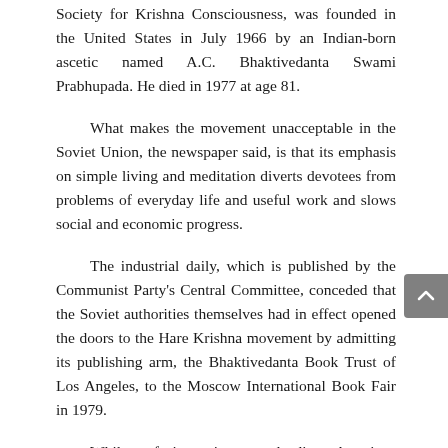Society for Krishna Consciousness, was founded in the United States in July 1966 by an Indian-born ascetic named A.C. Bhaktivedanta Swami Prabhupada. He died in 1977 at age 81.
What makes the movement unacceptable in the Soviet Union, the newspaper said, is that its emphasis on simple living and meditation diverts devotees from problems of everyday life and useful work and slows social and economic progress.
The industrial daily, which is published by the Communist Party's Central Committee, conceded that the Soviet authorities themselves had in effect opened the doors to the Hare Krishna movement by admitting its publishing arm, the Bhaktivedanta Book Trust of Los Angeles, to the Moscow International Book Fair in 1979.
While refusing visas to leading American publishing executives such as Robert L. Bernstein, chairman of Random House, and leading, not denied title from declining to the...